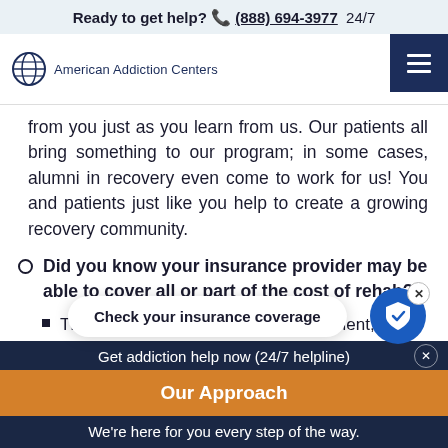Ready to get help? (888) 694-3977  24/7
[Figure (logo): American Addiction Centers logo with globe icon and text]
from you just as you learn from us. Our patients all bring something to our program; in some cases, alumni in recovery even come to work for us! You and patients just like you help to create a growing recovery community.
Did you know your insurance provider may be able to cover all or part of the cost of rehab?
The cost of... finding treatment, but many insurance providers
[Figure (infographic): Check your insurance coverage popup button with shield icon and close button]
Get addiction help now (24/7 helpline)
Our Approach
We're here for you every step of the way.